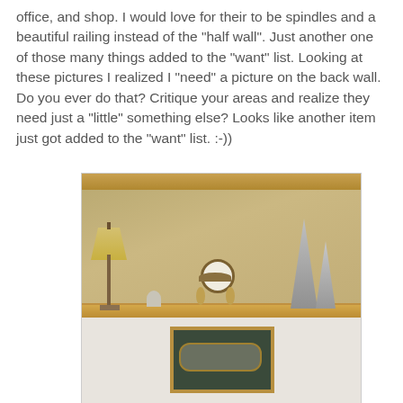office, and shop. I would love for their to be spindles and a beautiful railing instead of the "half wall". Just another one of those many things added to the "want" list. Looking at these pictures I realized I "need" a picture on the back wall. Do you ever do that? Critique your areas and realize they need just a "little" something else? Looks like another item just got added to the "want" list. :-))
[Figure (photo): Interior photo of a home's half-wall shelf decorated with a table lamp with a gold shade, a small ornate clock, silver decorative trees, a chalkboard sign with a name plate, and small figurines against a tan/gold painted wall.]